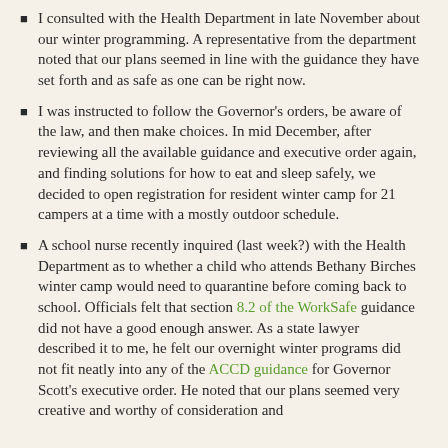I consulted with the Health Department in late November about our winter programming.  A representative from the department noted that our plans seemed in line with the guidance they have set forth and as safe as one can be right now.
I was instructed to follow the Governor's orders, be aware of the law, and then make choices.  In mid December, after reviewing all the available guidance and executive order again, and finding solutions for how to eat and sleep safely, we decided to open registration for resident winter camp for 21 campers at a time with a mostly outdoor schedule.
A school nurse recently inquired (last week?) with the Health Department as to whether a child who attends Bethany Birches winter camp would need to quarantine before coming back to school.  Officials felt that section 8.2 of the WorkSafe guidance did not have a good enough answer.  As a state lawyer described it to me, he felt our overnight winter programs did not fit neatly into any of the ACCD guidance for Governor Scott's executive order.  He noted that our plans seemed very creative and worthy of consideration and